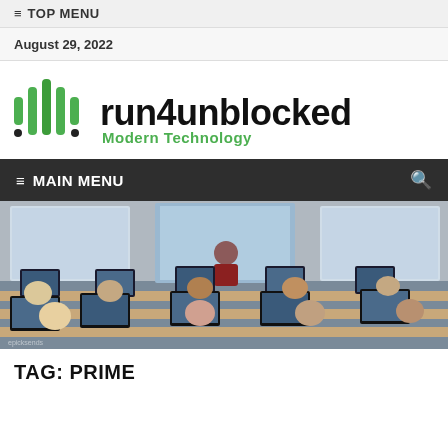≡ TOP MENU
August 29, 2022
[Figure (logo): run4unblocked logo with green sound-wave/bar icon and text 'run4unblocked Modern Technology']
≡ MAIN MENU
[Figure (photo): Classroom scene with students at computers and instructor presenting in front of large screens]
TAG: PRIME